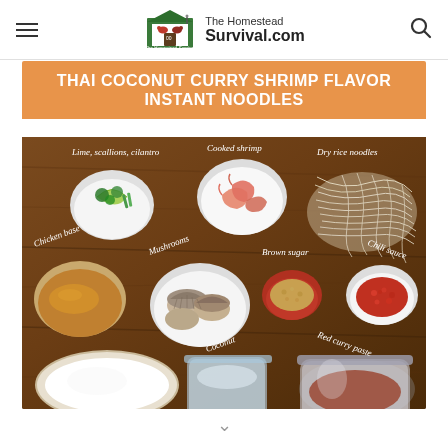The Homestead Survival.com
[Figure (photo): Overhead flat-lay photo of Thai Coconut Curry Shrimp Instant Noodles ingredients on a wooden cutting board: bowls containing lime/scallions/cilantro, cooked shrimp, dry rice noodles, chicken base, mushrooms, brown sugar, chili sauce, red curry paste, and coconut milk. Orange banner at top reads THAI COCONUT CURRY SHRIMP FLAVOR INSTANT NOODLES. Ingredient names written in white italic script over the photo.]